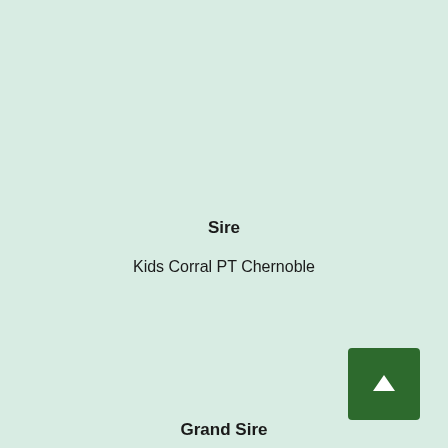Sire
Kids Corral PT Chernoble
Grand Sire